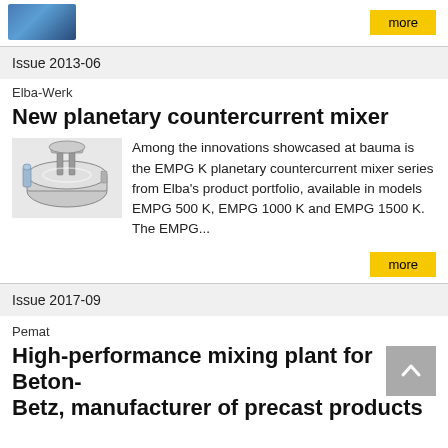[Figure (photo): Partial image of industrial equipment at top of page]
more
Issue 2013-06
Elba-Werk
New planetary countercurrent mixer
[Figure (photo): Photo of EMPG K planetary countercurrent mixer machine]
Among the innovations showcased at bauma is the EMPG K planetary countercurrent mixer series from Elba’s product portfolio, available in models EMPG 500 K, EMPG 1000 K and EMPG 1500 K. The EMPG...
more
Issue 2017-09
Pemat
High-performance mixing plant for Beton-Betz, manufacturer of precast products